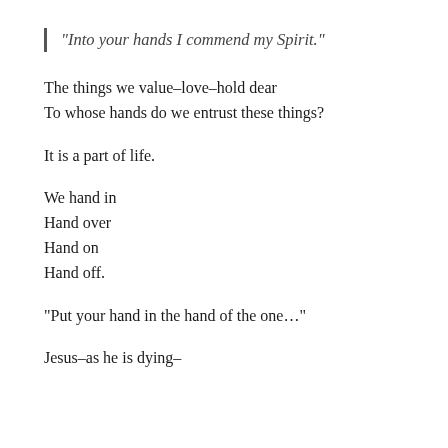“Into your hands I commend my Spirit.”
The things we value–love–hold dear
To whose hands do we entrust these things?
It is a part of life.
We hand in
Hand over
Hand on
Hand off.
“Put your hand in the hand of the one…”
Jesus–as he is dying–